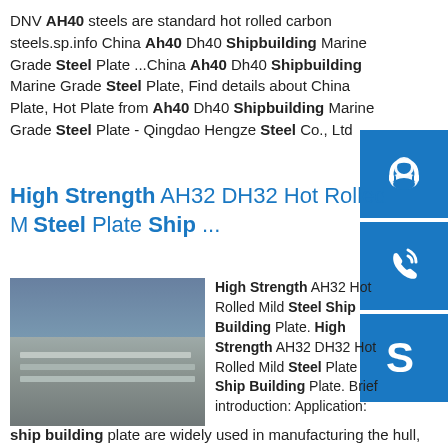DNV AH40 steels are standard hot rolled carbon steels.sp.info China Ah40 Dh40 Shipbuilding Marine Grade Steel Plate ...China Ah40 Dh40 Shipbuilding Marine Grade Steel Plate, Find details about China Plate, Hot Plate from Ah40 Dh40 Shipbuilding Marine Grade Steel Plate - Qingdao Hengze Steel Co., Ltd
High Strength AH32 DH32 Hot Rolled Mild Steel Plate Ship ...
[Figure (photo): Photo of stacked steel plates in an industrial warehouse/facility]
High Strength AH32 Hot Rolled Mild Steel Ship Building Plate. High Strength AH32 DH32 Hot Rolled Mild Steel Plate Ship Building Plate. Brief introduction: Application:
ship building plate are widely used in manufacturing the hull, marine extraction platform,the platform tube contact and other structural elements.sp.info Ship building use